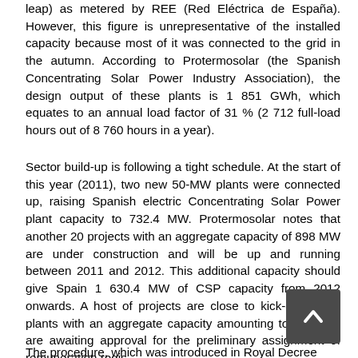leap) as metered by REE (Red Eléctrica de España). However, this figure is unrepresentative of the installed capacity because most of it was connected to the grid in the autumn. According to Protermosolar (the Spanish Concentrating Solar Power Industry Association), the design output of these plants is 1 851 GWh, which equates to an annual load factor of 31 % (2 712 full-load hours out of 8 760 hours in a year).
Sector build-up is following a tight schedule. At the start of this year (2011), two new 50-MW plants were connected up, raising Spanish electric Concentrating Solar Power plant capacity to 732.4 MW. Protermosolar notes that another 20 projects with an aggregate capacity of 898 MW are under construction and will be up and running between 2011 and 2012. This additional capacity should give Spain 1 630.4 MW of CSP capacity from 2012 onwards. A host of projects are close to kick-off, as 23 plants with an aggregate capacity amounting to 842 MW are awaiting approval for the preliminary assignment of remuneration regis...
The procedure, which was introduced in Royal Decree